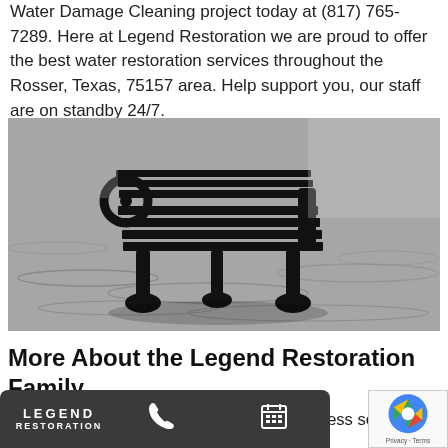Water Damage Cleaning project today at (817) 765-7289. Here at Legend Restoration we are proud to offer the best water restoration services throughout the Rosser, Texas, 75157 area. Help support you, our staff are on standby 24/7.
[Figure (photo): Black and white photo of a park bench partially submerged in flood water]
More About the Legend Restoration Family
Legend Restoration is a family owned business servicing the Rosser area. We specialize in 24 hour